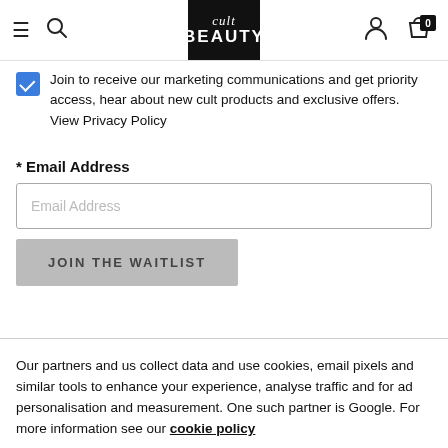[Figure (screenshot): Cult Beauty website navigation header with hamburger menu, search icon, Cult Beauty logo, user account icon, and shopping cart showing 0 items]
Join to receive our marketing communications and get priority access, hear about new cult products and exclusive offers. View Privacy Policy
* Email Address
Email Address
JOIN THE WAITLIST
Our partners and us collect data and use cookies, email pixels and similar tools to enhance your experience, analyse traffic and for ad personalisation and measurement. One such partner is Google. For more information see our cookie policy
OK
A jewel in Charlotte Tilbury's crown: Luxury Palette... The